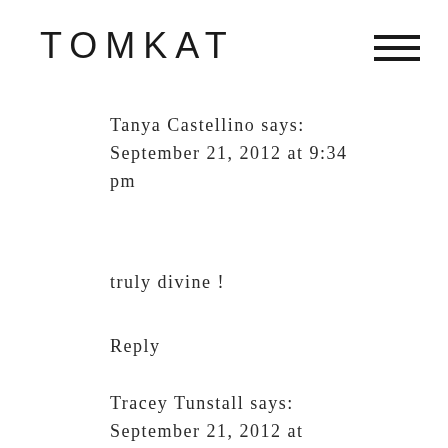TOMKAT
Tanya Castellino says:
September 21, 2012 at 9:34 pm
truly divine !
Reply
Tracey Tunstall says:
September 21, 2012 at 10:05 pm
Inspiring....awesome...